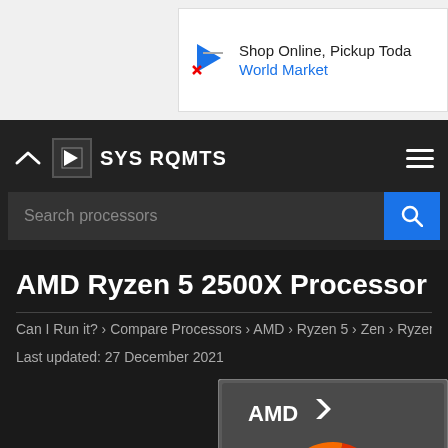[Figure (screenshot): Advertisement banner: Shop Online, Pickup Today - World Market]
SYS RQMTS
[Figure (screenshot): Search bar with text: Search processors and a blue search button]
AMD Ryzen 5 2500X Processor
Can I Run it? › Compare Processors › AMD › Ryzen 5 › Zen › Ryzen 5 25…
Last updated: 27 December 2021
[Figure (photo): AMD Ryzen processor product image showing AMD logo and RYZEN text with orange arc design on dark grey background]